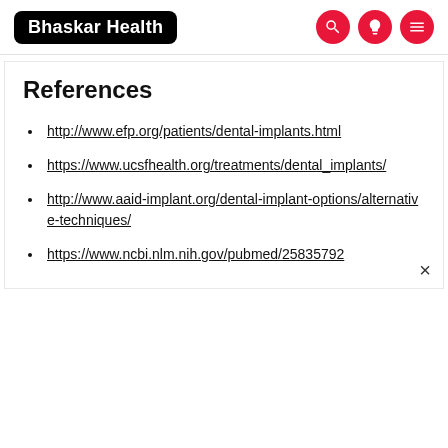Bhaskar Health
References
http://www.efp.org/patients/dental-implants.html
https://www.ucsfhealth.org/treatments/dental_implants/
http://www.aaid-implant.org/dental-implant-options/alternative-techniques/
https://www.ncbi.nlm.nih.gov/pubmed/25835792